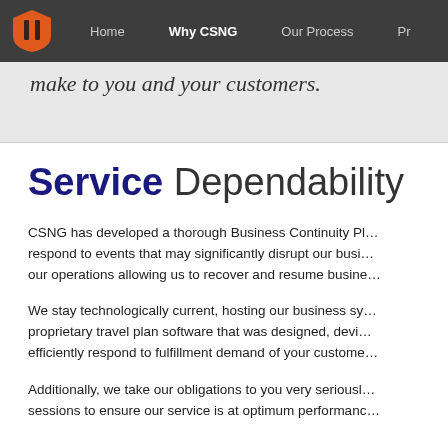Home | Why CSNG | Our Process | Pr...
make to you and your customers.
Service Dependability
CSNG has developed a thorough Business Continuity Pl... respond to events that may significantly disrupt our busi... our operations allowing us to recover and resume busine...
We stay technologically current, hosting our business sy... proprietary travel plan software that was designed, devi... efficiently respond to fulfillment demand of your custome...
Additionally, we take our obligations to you very seriousl... sessions to ensure our service is at optimum performanc...